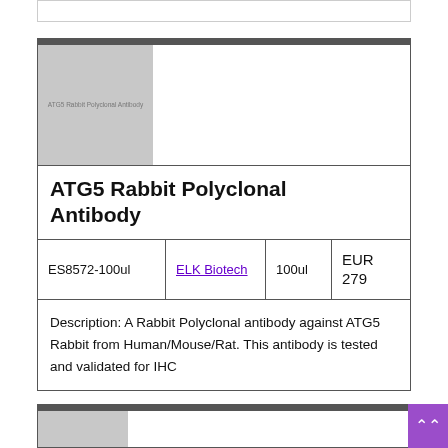[Figure (photo): ATG5 Rabbit Polyclonal Antibody product image placeholder (grey box with text label)]
ATG5 Rabbit Polyclonal Antibody
| Catalog | Brand | Volume | Price |
| --- | --- | --- | --- |
| ES8572-100ul | ELK Biotech | 100ul | EUR 279 |
Description: A Rabbit Polyclonal antibody against ATG5 Rabbit from Human/Mouse/Rat. This antibody is tested and validated for IHC